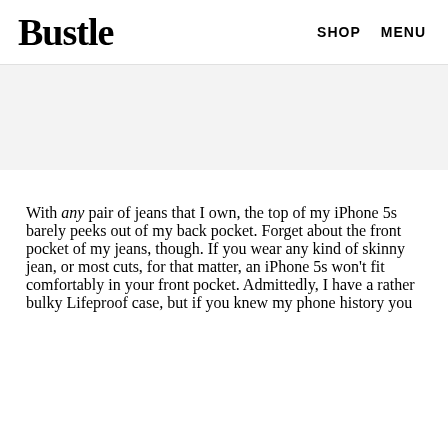Bustle   SHOP   MENU
[Figure (other): Advertisement placeholder area with light gray background]
With any pair of jeans that I own, the top of my iPhone 5s barely peeks out of my back pocket. Forget about the front pocket of my jeans, though. If you wear any kind of skinny jean, or most cuts, for that matter, an iPhone 5s won't fit comfortably in your front pocket. Admittedly, I have a rather bulky Lifeproof case, but if you knew my phone history you would understand. Still, it fits comfortably in the back pocket.